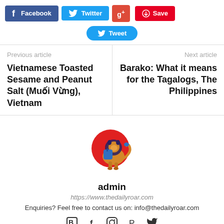[Figure (other): Social share buttons: Facebook, Twitter, Google+, Save, Tweet]
Previous article
Vietnamese Toasted Sesame and Peanut Salt (Muối Vừng), Vietnam
Next article
Barako: What it means for the Tagalogs, The Philippines
[Figure (logo): The Daily Roar logo: lion with backpack in front of red circle]
admin
https://www.thedailyroar.com
Enquiries? Feel free to contact us on: info@thedailyroar.com
[Figure (other): Social media icons: Blogger, Facebook, Instagram, Pinterest, Twitter]